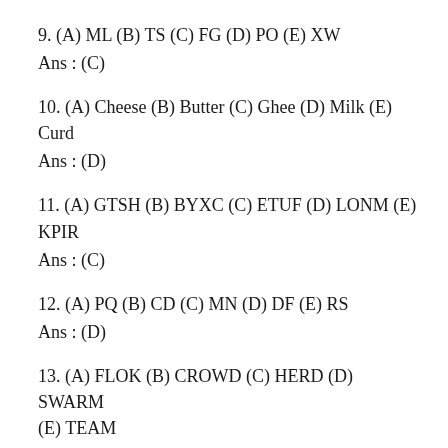9. (A) ML (B) TS (C) FG (D) PO (E) XW
Ans : (C)
10. (A) Cheese (B) Butter (C) Ghee (D) Milk (E) Curd
Ans : (D)
11. (A) GTSH (B) BYXC (C) ETUF (D) LONM (E) KPIR
Ans : (C)
12. (A) PQ (B) CD (C) MN (D) DF (E) RS
Ans : (D)
13. (A) FLOK (B) CROWD (C) HERD (D) SWARM (E) TEAM